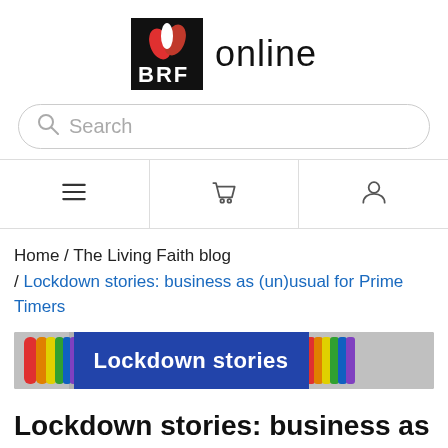[Figure (logo): BRF Online logo with red leaf icon on black background and 'online' text]
Search
[Figure (infographic): Navigation bar with hamburger menu, shopping cart, and user profile icons]
Home / The Living Faith blog / Lockdown stories: business as (un)usual for Prime Timers
[Figure (photo): Banner image showing a rainbow with text 'Lockdown stories' overlaid in white on blue background]
Lockdown stories: business as (un)usual for Prime Timers